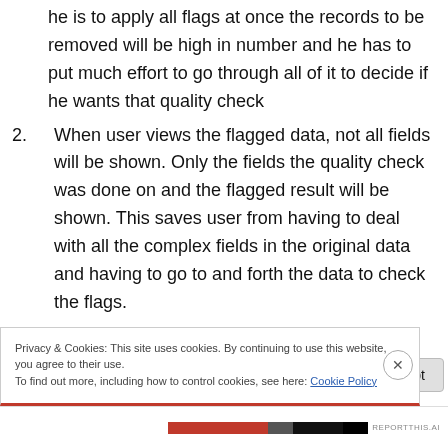he is to apply all flags at once the records to be removed will be high in number and he has to put much effort to go through all of it to decide if he wants that quality check
2. When user views the flagged data, not all fields will be shown. Only the fields the quality check was done on and the flagged result will be shown. This saves user from having to deal with all the complex fields in the original data and having to go to and forth the data to check the flags.
If he is satisfied with the records he will lose then,
Privacy & Cookies: This site uses cookies. By continuing to use this website, you agree to their use.
To find out more, including how to control cookies, see here: Cookie Policy